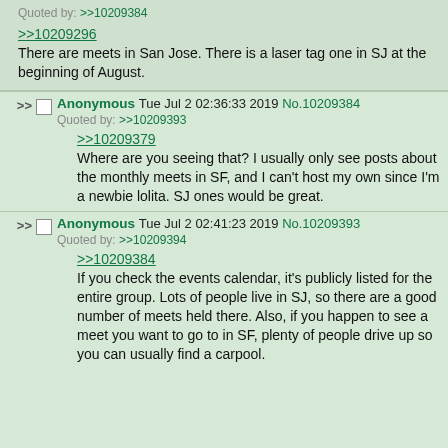Quoted by: >>10209384
>>10209296
There are meets in San Jose. There is a laser tag one in SJ at the beginning of August.
Anonymous Tue Jul 2 02:36:33 2019 No.10209384
Quoted by: >>10209393
>>10209379
Where are you seeing that? I usually only see posts about the monthly meets in SF, and I can't host my own since I'm a newbie lolita. SJ ones would be great.
Anonymous Tue Jul 2 02:41:23 2019 No.10209393
Quoted by: >>10209394
>>10209384
If you check the events calendar, it's publicly listed for the entire group. Lots of people live in SJ, so there are a good number of meets held there. Also, if you happen to see a meet you want to go to in SF, plenty of people drive up so you can usually find a carpool.